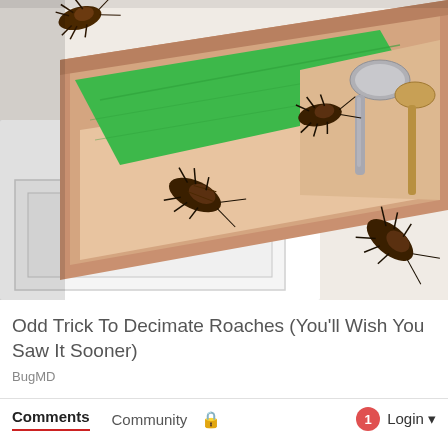[Figure (illustration): Illustration of an open kitchen drawer with cockroaches inside and around it. The drawer contains green fabric/mat, a silver spoon, a wooden spoon, and multiple brown cockroaches crawling in and around the drawer. The cabinet is white with gold/brass handles.]
Odd Trick To Decimate Roaches (You'll Wish You Saw It Sooner)
BugMD
Comments  Community  🔒  1  Login